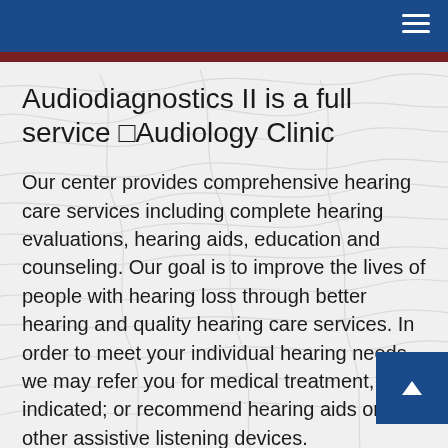Audiodiagnostics II is a full service □Audiology Clinic
Our center provides comprehensive hearing care services including complete hearing evaluations, hearing aids, education and counseling. Our goal is to improve the lives of people with hearing loss through better hearing and quality hearing care services. In order to meet your individual hearing needs, we may refer you for medical treatment, if indicated; or recommend hearing aids or other assistive listening devices.